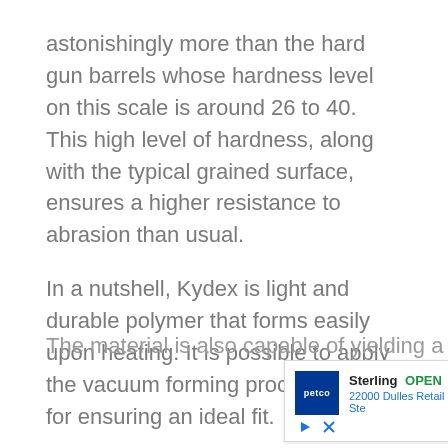astonishingly more than the hard gun barrels whose hardness level on this scale is around 26 to 40. This high level of hardness, along with the typical grained surface, ensures a higher resistance to abrasion than usual.
In a nutshell, Kydex is light and durable polymer that forms easily upon heating. It is possible to apply the vacuum forming procedure to it for ensuring an ideal fit.
The material is also capable of yielding a slim...
[Figure (screenshot): Advertisement overlay showing Petco store in Sterling with OPEN status, hours 10AM-7PM, address 22000 Dulles Retail Plaza, #110, Ste, and a navigation arrow icon. Below the ad are close/dismiss controls.]